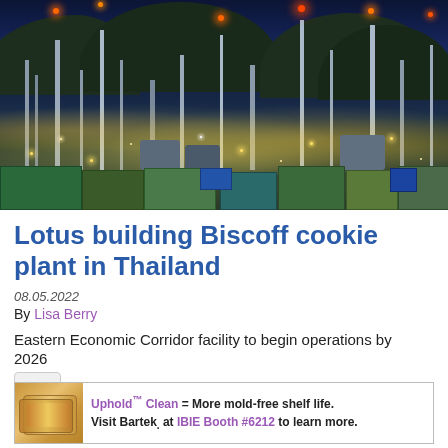[Figure (photo): Aerial night view of an industrial chemical or petroleum plant with bright lights, tall towers/stacks, storage tanks, and mountains in the background under a dark blue sky]
Lotus building Biscoff cookie plant in Thailand
08.05.2022
By Lisa Berry
Eastern Economic Corridor facility to begin operations by 2026
[Figure (photo): Advertisement banner: bread/biscuit image on left. Text reads: Uphold Clean = More mold-free shelf life. Visit Bartek. at IBIE Booth #6212 to learn more.]